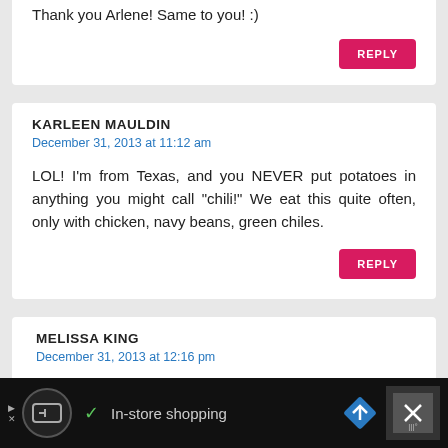Thank you Arlene! Same to you! :)
REPLY
KARLEEN MAULDIN
December 31, 2013 at 11:12 am
LOL! I'm from Texas, and you NEVER put potatoes in anything you might call "chili!" We eat this quite often, only with chicken, navy beans, green chiles.
REPLY
MELISSA KING
December 31, 2013 at 12:16 pm
In-store shopping